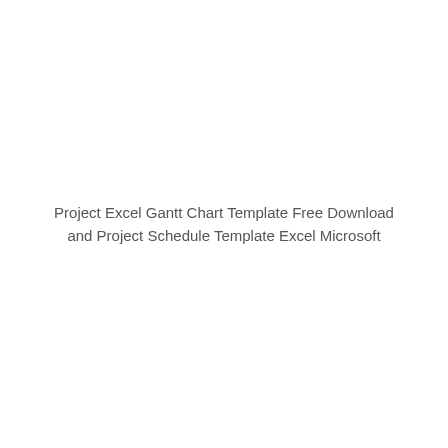Project Excel Gantt Chart Template Free Download and Project Schedule Template Excel Microsoft